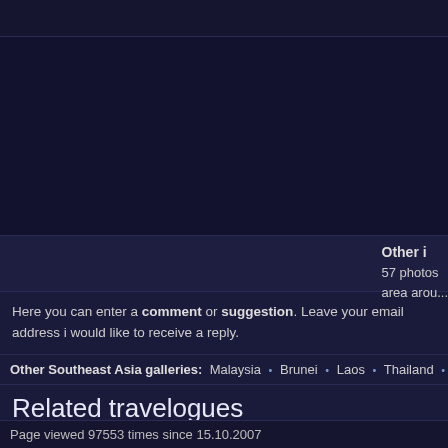Other i... 57 photos... area arou...
Here you can enter a comment or suggestion. Leave your email address i... would like to receive a reply.
Other Southeast Asia galleries: Malaysia • Brunei • Laos • Thailand • Indone...
Related travelogues
Cambodia 2006: trip to Siem Reap and the Angkor temples, then ove...
Page viewed 97553 times since 15.10.2007